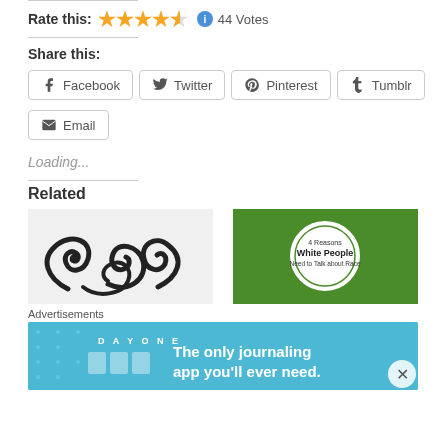Rate this: ★★★★½ ⓘ 44 Votes
Share this:
Facebook  Twitter  Pinterest  Tumblr  Email
Loading...
Related
[Figure (illustration): Black decorative swirl flourish illustration on white background]
[Figure (illustration): Green background with white circle containing text about White People]
Advertisements
[Figure (illustration): DAY ONE app advertisement banner: The only journaling app you'll ever need.]